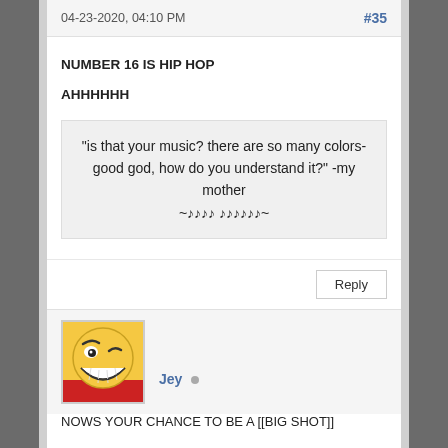04-23-2020, 04:10 PM  #35
NUMBER 16 IS HIP HOP
AHHHHHH
"is that your music? there are so many colors- good god, how do you understand it?" -my mother ~♪♪♪♪ ♪♪♪♪♪♪~
Reply
[Figure (illustration): Avatar image of an animated character with a yellow round face, wide grin showing white teeth, and one visible eye with an eyebrow raised, wearing red clothing]
Jey
NOWS YOUR CHANCE TO BE A [[BIG SHOT]]